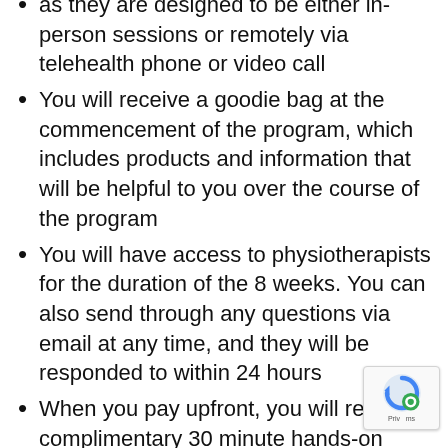as they are designed to be either in-person sessions or remotely via telehealth phone or video call
You will receive a goodie bag at the commencement of the program, which includes products and information that will be helpful to you over the course of the program
You will have access to physiotherapists for the duration of the 8 weeks. You can also send through any questions via email at any time, and they will be responded to within 24 hours
When you pay upfront, you will receive a complimentary 30 minute hands-on physiotherapy session OR a 30 minute massage OR a 30 minute myotherapy session – to use whenever you choose over the duration of the 8 weeks
If you are unable to pay upfront, you may split the payment into 2 payments, one paid at the [cut off]